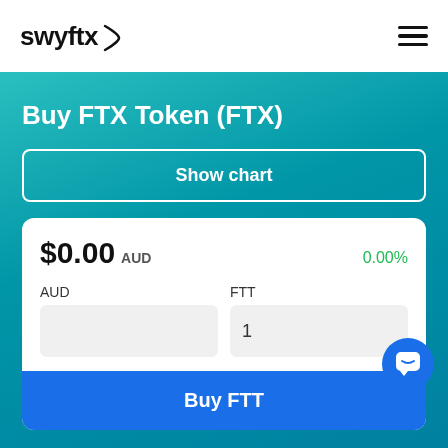swyftx
Buy FTX Token (FTX)
Show chart
$0.00 AUD  0.00%
AUD  FTT
Buy FTT